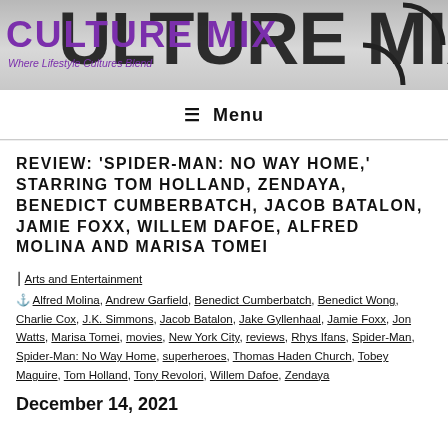CULTURE MIX — Where Lifestyle Cultures Blend
☰ Menu
REVIEW: 'SPIDER-MAN: NO WAY HOME,' STARRING TOM HOLLAND, ZENDAYA, BENEDICT CUMBERBATCH, JACOB BATALON, JAMIE FOXX, WILLEM DAFOE, ALFRED MOLINA AND MARISA TOMEI
Arts and Entertainment
Alfred Molina, Andrew Garfield, Benedict Cumberbatch, Benedict Wong, Charlie Cox, J.K. Simmons, Jacob Batalon, Jake Gyllenhaal, Jamie Foxx, Jon Watts, Marisa Tomei, movies, New York City, reviews, Rhys Ifans, Spider-Man, Spider-Man: No Way Home, superheroes, Thomas Haden Church, Tobey Maguire, Tom Holland, Tony Revolori, Willem Dafoe, Zendaya
December 14, 2021